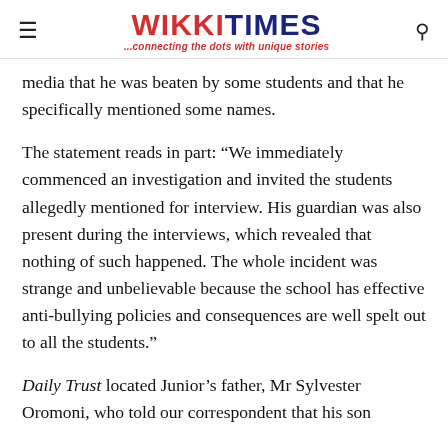WIKKI TIMES ...connecting the dots with unique stories
media that he was beaten by some students and that he specifically mentioned some names.
The statement reads in part: “We immediately commenced an investigation and invited the students allegedly mentioned for interview. His guardian was also present during the interviews, which revealed that nothing of such happened. The whole incident was strange and unbelievable because the school has effective anti-bullying policies and consequences are well spelt out to all the students.”
Daily Trust located Junior’s father, Mr Sylvester Oromoni, who told our correspondent that his son